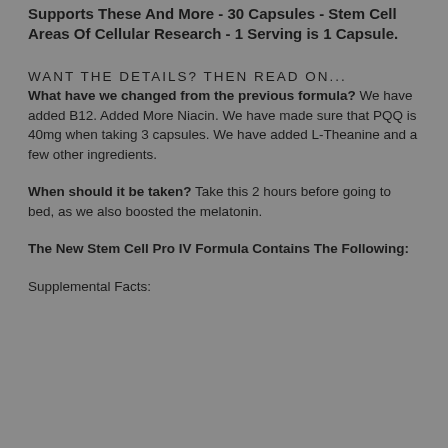Supports These And More - 30 Capsules - Stem Cell Areas Of Cellular Research - 1 Serving is 1 Capsule.
WANT THE DETAILS? THEN READ ON... What have we changed from the previous formula? We have added B12. Added More Niacin. We have made sure that PQQ is 40mg when taking 3 capsules. We have added L-Theanine and a few other ingredients.
When should it be taken? Take this 2 hours before going to bed, as we also boosted the melatonin.
The New Stem Cell Pro IV Formula Contains The Following:
Supplemental Facts: